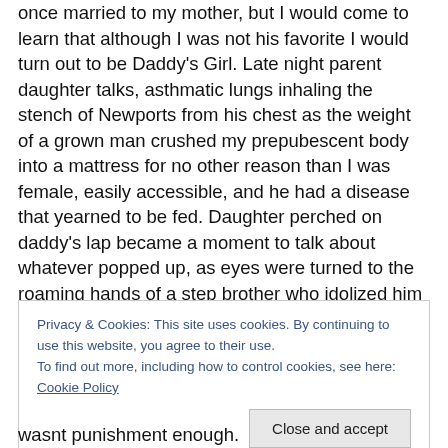once married to my mother, but I would come to learn that although I was not his favorite I would turn out to be Daddy's Girl. Late night parent daughter talks, asthmatic lungs inhaling the stench of Newports from his chest as the weight of a grown man crushed my prepubescent body into a mattress for no other reason than I was female, easily accessible, and he had a disease that yearned to be fed. Daughter perched on daddy's lap became a moment to talk about whatever popped up, as eyes were turned to the roaming hands of a step brother who idolized him and my flat chest at the same time. This is where I lived and
Privacy & Cookies: This site uses cookies. By continuing to use this website, you agree to their use.
To find out more, including how to control cookies, see here: Cookie Policy
wasnt punishment enough.